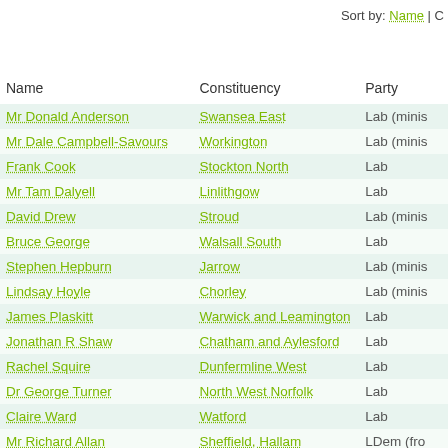Sort by: Name | C
| Name | Constituency | Party |
| --- | --- | --- |
| Mr Donald Anderson | Swansea East | Lab (minis |
| Mr Dale Campbell-Savours | Workington | Lab (minis |
| Frank Cook | Stockton North | Lab |
| Mr Tam Dalyell | Linlithgow | Lab |
| David Drew | Stroud | Lab (minis |
| Bruce George | Walsall South | Lab |
| Stephen Hepburn | Jarrow | Lab (minis |
| Lindsay Hoyle | Chorley | Lab (minis |
| James Plaskitt | Warwick and Leamington | Lab |
| Jonathan R Shaw | Chatham and Aylesford | Lab |
| Rachel Squire | Dunfermline West | Lab |
| Dr George Turner | North West Norfolk | Lab |
| Claire Ward | Watford | Lab |
| Mr Richard Allan | Sheffield, Hallam | LDem (fro |
| Dr Peter Brand | Isle of Wight | LDem |